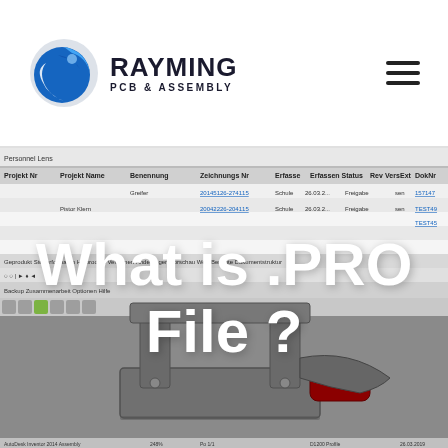[Figure (logo): Rayming PCB & Assembly logo with blue globe icon]
[Figure (screenshot): Screenshot of CAD/PLM software (AutoDesk Inventor 2014 Assembly) showing a 3D model of a mechanical clamp/fixture with a toolbar and project management table in the upper portion. Overlaid with large white text 'What is .PRO File ?']
What is .PRO File ?